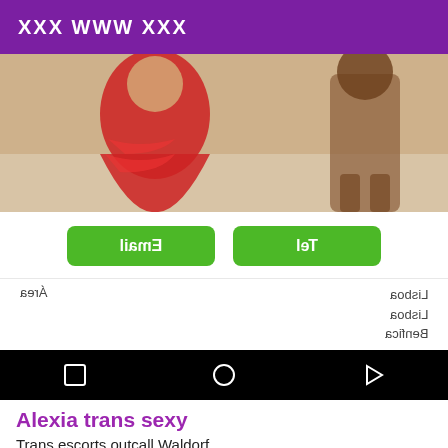XXX WWW XXX
[Figure (photo): Screenshot of an escort listing page showing a person in a red dress on the left and another person on the right, with green Email and Tel buttons (mirrored), area info showing Lisboa and Benfica (mirrored), and Android navigation bar at the bottom.]
Alexia trans sexy
Trans escorts outcall Waldorf
Hello jesui alexia uma trans latina colombiana tre bell active pasif versátil con apartamont privet